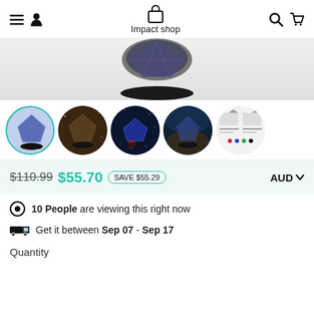Impact shop
[Figure (photo): Product image of a diamond-shaped galaxy projector lamp with black base, partially visible at top]
[Figure (photo): Row of 5 circular thumbnail images of the galaxy projector lamp in different settings and colors]
$110.99 $55.70 SAVE $55.29 AUD
10 People are viewing this right now
Get it between Sep 07 - Sep 17
Quantity